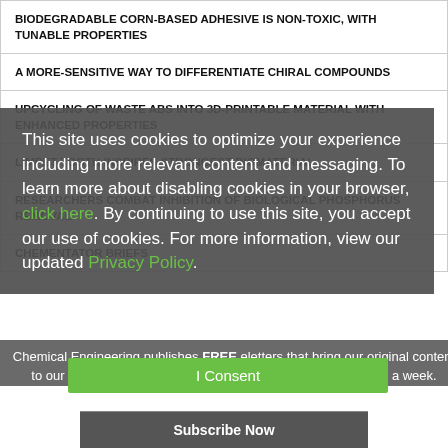BIODEGRADABLE CORN-BASED ADHESIVE IS NON-TOXIC, WITH TUNABLE PROPERTIES
A MORE-SENSITIVE WAY TO DIFFERENTIATE CHIRAL COMPOUNDS
UPCYCLING OF WASTE ABS INTO 3D-PRINTABLE MATERIAL WITH ENHANCED PROPERTIES
LIMPET TOOTH INSPIRES STRONGEST BIOMATERIAL
RESEARCHERS COMBAT INHIBITION OF BIOLOGICAL PHOSPHORUS REMOVAL
CHEMENTATOR BRIEFS
This site uses cookies to optimize your experience including more relevant content and messaging. To learn more about disabling cookies in your browser, click here. By continuing to use this site, you accept our use of cookies. For more information, view our updated Privacy Policy.
Chemical Engineering publishes FREE eletters that bring our original content to our readers in an easily accessible email format about once a week.